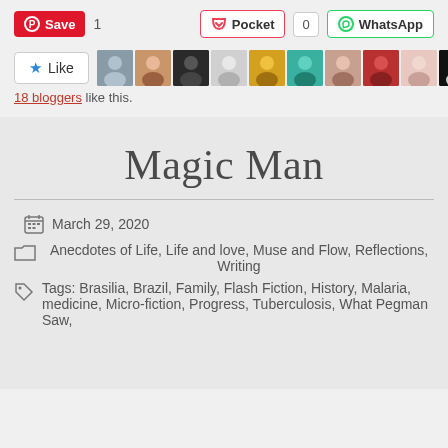[Figure (screenshot): Social sharing buttons: Pinterest Save (red), count 1, Pocket button, count 0, WhatsApp button]
[Figure (screenshot): Like button with star icon and row of 10 blogger avatar thumbnails]
18 bloggers like this.
Magic Man
March 29, 2020
Anecdotes of Life, Life and love, Muse and Flow, Reflections, Writing
Tags: Brasilia, Brazil, Family, Flash Fiction, History, Malaria, medicine, Micro-fiction, Progress, Tuberculosis, What Pegman Saw,